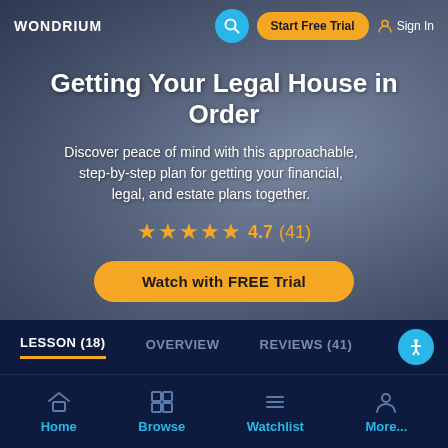WONDRIUM
Getting Your Legal House in Order
Discover peace of mind with this approachable, step-by-step plan for getting your financial, legal, and estate plans together.
★★★★★ 4.7 (41)
Watch with FREE Trial
LESSON (18)
OVERVIEW
REVIEWS (41)
Home Browse Watchlist More...